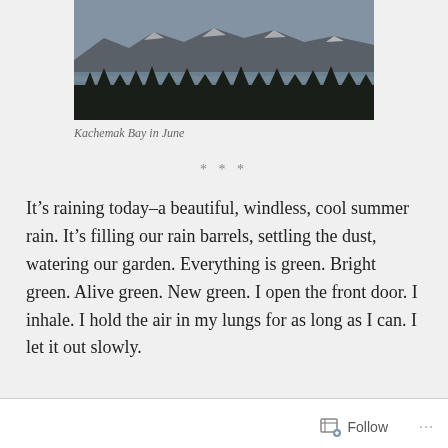[Figure (photo): Landscape photo of Kachemak Bay in June — mountains with snow in background, water/bay in middle, and a treeline of dark conifers in the foreground, under an overcast sky.]
Kachemak Bay in June
***
It’s raining today–a beautiful, windless, cool summer rain. It’s filling our rain barrels, settling the dust, watering our garden. Everything is green. Bright green. Alive green. New green. I open the front door. I inhale. I hold the air in my lungs for as long as I can. I let it out slowly.
Follow ...